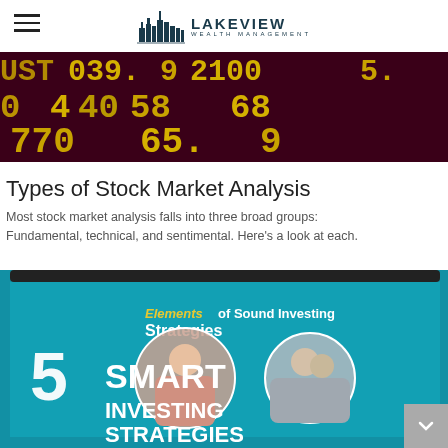Lakeview Wealth Management
[Figure (photo): Stock market ticker board with red background and yellow/green numbers including 039, 2100, 770, 65 etc.]
Types of Stock Market Analysis
Most stock market analysis falls into three broad groups: Fundamental, technical, and sentimental. Here's a look at each.
[Figure (photo): Tablet displaying 'Elements of Sound Investing Strategies' presentation with circular photos of people and overlay text reading '5 SMART INVESTING STRATEGIES']